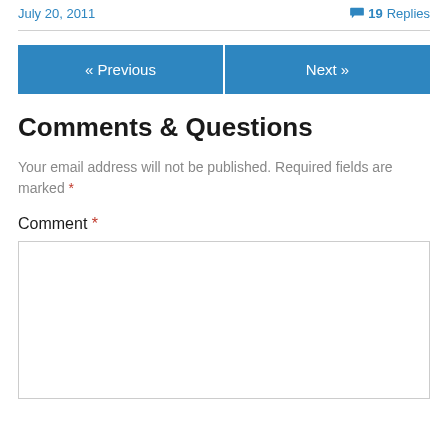July 20, 2011
19 Replies
« Previous
Next »
Comments & Questions
Your email address will not be published. Required fields are marked *
Comment *